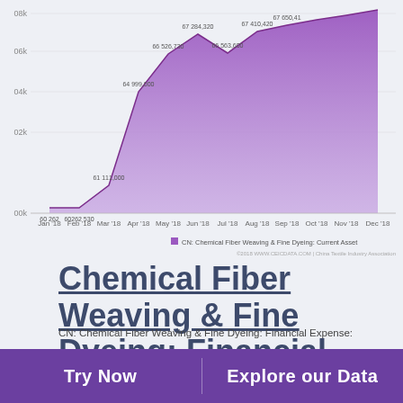[Figure (area-chart): CN: Chemical Fiber Weaving & Fine Dyeing: Current Asset]
Chemical Fiber Weaving & Fine Dyeing: Financial Expense: Interest Expense: Year to Date
2012 - 2018 | MONTHLY | RMB MN | CHINA TEXTILE INDUSTRY ASSOCIATION
CN: Chemical Fiber Weaving & Fine Dyeing: Financial Expense: